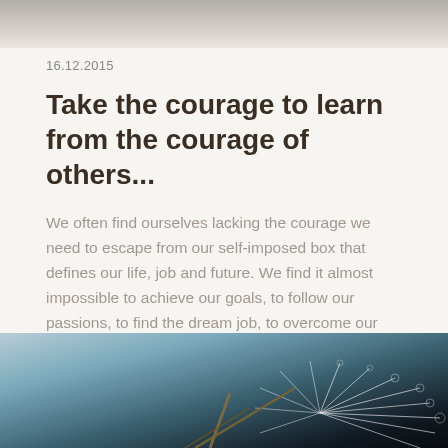[Figure (photo): Top portion of a photograph, showing a blurred gray/brown textured subject, cropped at the top of the page]
16.12.2015
Take the courage to learn from the courage of others...
We often find ourselves lacking the courage we need to escape from our self-imposed box that defines our life, job and future. We find it almost impossible to achieve our goals, to follow our passions, to find the dream job, to overcome our challenges and to live our life in the way in which we would like. How does one shake off this feeling of inertia?
[Figure (photo): Close-up photograph of a dandelion seed head against a dark background, showing delicate white filaments radiating outward]